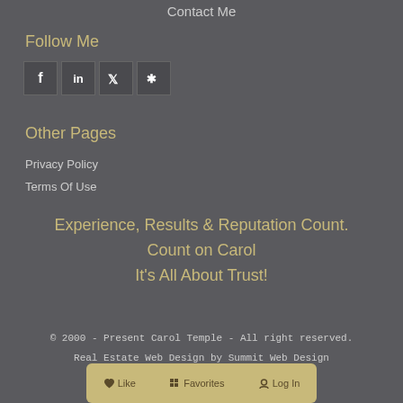Contact Me
Follow Me
[Figure (other): Four social media icon buttons: Facebook, LinkedIn, Twitter, Yelp]
Other Pages
Privacy Policy
Terms Of Use
Experience, Results & Reputation Count.
Count on Carol
It's All About Trust!
© 2000 - Present Carol Temple - All right reserved.
Real Estate Web Design by Summit Web Design
[Figure (other): Golden rounded bar with Like, Favorites, and Log In buttons]